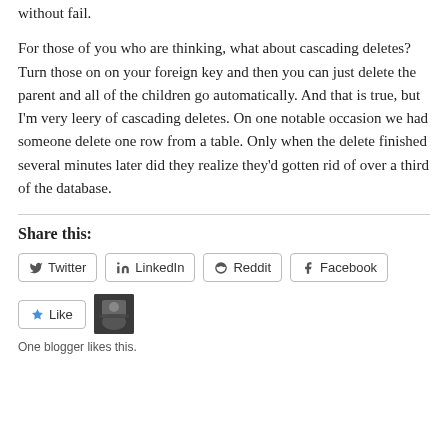without fail.
For those of you who are thinking, what about cascading deletes? Turn those on on your foreign key and then you can just delete the parent and all of the children go automatically. And that is true, but I'm very leery of cascading deletes. On one notable occasion we had someone delete one row from a table. Only when the delete finished several minutes later did they realize they'd gotten rid of over a third of the database.
Share this:
Twitter  LinkedIn  Reddit  Facebook
Like
One blogger likes this.